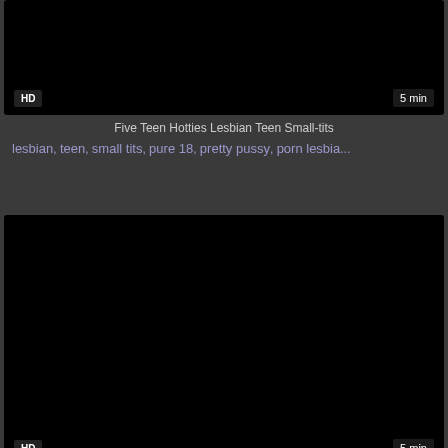[Figure (screenshot): Dark/black video thumbnail with HD badge bottom-left and 5 min badge bottom-right]
Five Teen Hotties Lesbian Teen Small-tits
lesbian, teen, small tits, pure 18, pretty pussy, porn lesbia...
[Figure (screenshot): Dark/black video thumbnail with HD badge bottom-left and 5 min badge bottom-right]
Hotties Are Lesbian Teen Hotpussy